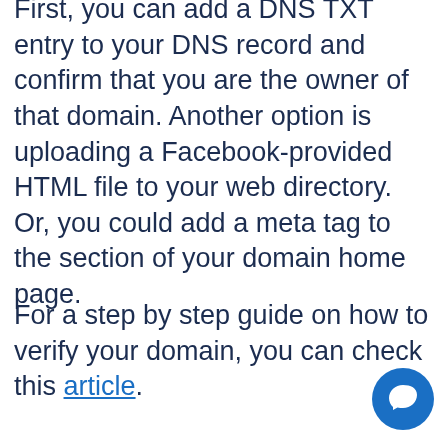First, you can add a DNS TXT entry to your DNS record and confirm that you are the owner of that domain. Another option is uploading a Facebook-provided HTML file to your web directory. Or, you could add a meta tag to the section of your domain home page.
For a step by step guide on how to verify your domain, you can check this article.